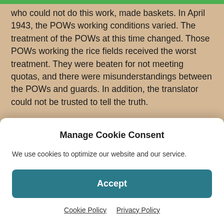who could not do this work, made baskets. In April 1943, the POWs working conditions varied. The treatment of the POWs at this time changed. Those POWs working the rice fields received the worst treatment. They were beaten for not meeting quotas, and there were misunderstandings between the POWs and guards. In addition, the translator could not be trusted to tell the truth.
Some POWs were sent to a plantation and given the job of building a road. In the opinion of the POWs, they did more damage than good and intentionally kept the roads in poor shape. Others were able in areas that contained
Manage Cookie Consent
We use cookies to optimize our website and our service.
Accept
Cookie Policy   Privacy Policy